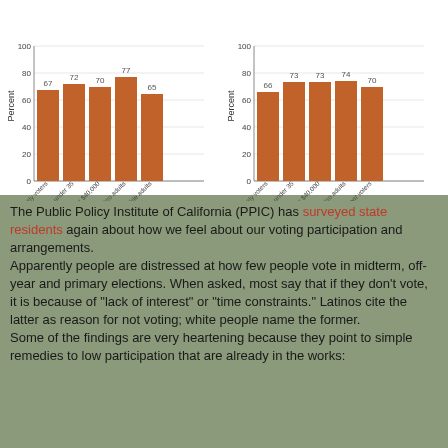[Figure (bar-chart): Chart 1]
[Figure (bar-chart): Chart 2]
The Public Policy Institute of California (PPIC) has surveyed state residents again about how we feel about our voting participation and arrangements.
Apparently people are distressed at how few people vote in midterm, off-year and primary elections. When asked, most say that if they don't vote, it is because of "lack of interest" or "time constraints." Latinos cite the latter as reason for not voting; white people name the former.
Some of the findings are very heartening because they point to simple remedies to low participation that are already in the works: